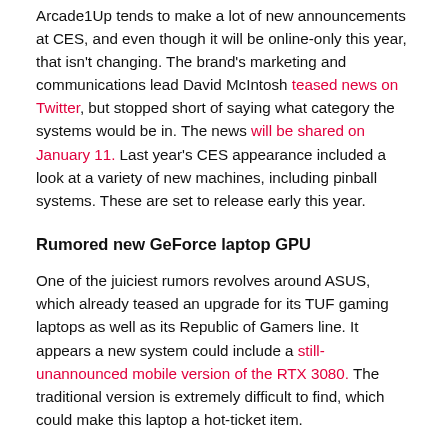Arcade1Up tends to make a lot of new announcements at CES, and even though it will be online-only this year, that isn't changing. The brand's marketing and communications lead David McIntosh teased news on Twitter, but stopped short of saying what category the systems would be in. The news will be shared on January 11. Last year's CES appearance included a look at a variety of new machines, including pinball systems. These are set to release early this year.
Rumored new GeForce laptop GPU
One of the juiciest rumors revolves around ASUS, which already teased an upgrade for its TUF gaming laptops as well as its Republic of Gamers line. It appears a new system could include a still-unannounced mobile version of the RTX 3080. The traditional version is extremely difficult to find, which could make this laptop a hot-ticket item.
Nvidia RTX 3060 revealed